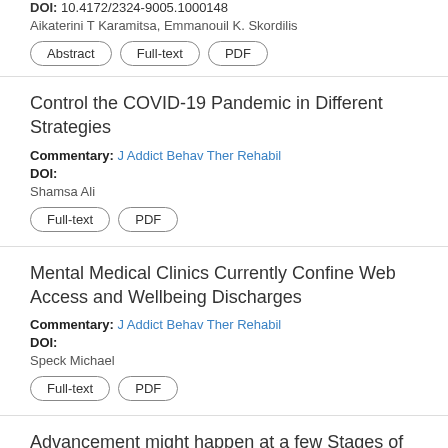DOI: 10.4172/2324-9005.1000148
Aikaterini T Karamitsa, Emmanouil K. Skordilis
Abstract | Full-text | PDF
Control the COVID-19 Pandemic in Different Strategies
Commentary: J Addict Behav Ther Rehabil
DOI:
Shamsa Ali
Full-text | PDF
Mental Medical Clinics Currently Confine Web Access and Wellbeing Discharges
Commentary: J Addict Behav Ther Rehabil
DOI:
Speck Michael
Full-text | PDF
Advancement might happen at a few Stages of Execution Process in Health Record